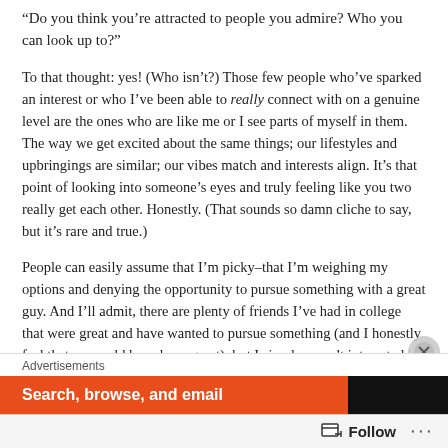“Do you think you’re attracted to people you admire? Who you can look up to?”
To that thought: yes! (Who isn’t?) Those few people who’ve sparked an interest or who I’ve been able to really connect with on a genuine level are the ones who are like me or I see parts of myself in them. The way we get excited about the same things; our lifestyles and upbringings are similar; our vibes match and interests align. It’s that point of looking into someone’s eyes and truly feeling like you two really get each other. Honestly. (That sounds so damn cliche to say, but it’s rare and true.)
People can easily assume that I’m picky–that I’m weighing my options and denying the opportunity to pursue something with a great guy. And I’ll admit, there are plenty of friends I’ve had in college that were great and have wanted to pursue something (and I honestly feel that we could have been great), but I simply wasn’t interested in having or being in a relationship. I wasn’t at the point in my life where I could give a relationship its due time and attention. And I think
Advertisements
[Figure (other): Advertisement banner with orange background reading 'Search, browse, and email' with a dark right panel containing a logo]